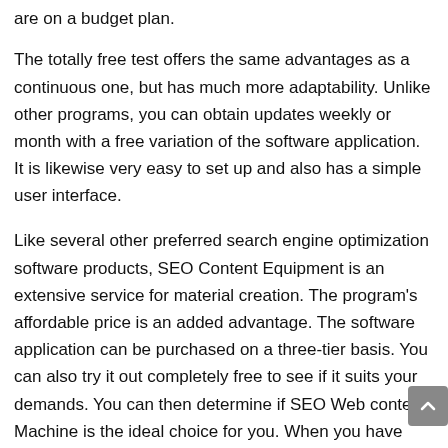are on a budget plan.
The totally free test offers the same advantages as a continuous one, but has much more adaptability. Unlike other programs, you can obtain updates weekly or month with a free variation of the software application. It is likewise very easy to set up and also has a simple user interface.
Like several other preferred search engine optimization software products, SEO Content Equipment is an extensive service for material creation. The program's affordable price is an added advantage. The software application can be purchased on a three-tier basis. You can also try it out completely free to see if it suits your demands. You can then determine if SEO Web content Machine is the ideal choice for you. When you have actually chosen on the product, you'll just how well it benefits your website.